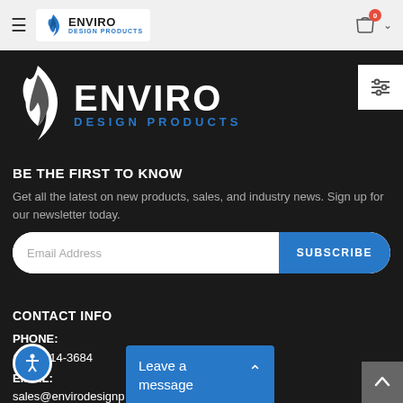Enviro Design Products - Navigation bar with hamburger menu, logo, cart icon with badge 0
[Figure (logo): Enviro Design Products logo - flame icon with ENVIRO DESIGN PRODUCTS text - large white version on dark background]
[Figure (other): Filter/settings icon button (horizontal sliders icon) on white background at right edge]
BE THE FIRST TO KNOW
Get all the latest on new products, sales, and industry news. Sign up for our newsletter today.
Email Address | SUBSCRIBE
CONTACT INFO
PHONE:
(866) 514-3684
EMAIL:
sales@envirodesignp...
[Figure (other): Blue circular accessibility button with person icon]
Leave a message
[Figure (other): Gray scroll-to-top button with upward arrow]